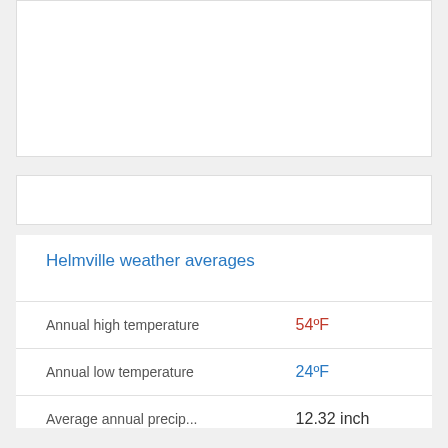[Figure (other): White block area at top (partial content from above)]
[Figure (other): White block area in middle (partial content)]
Helmville weather averages
|  |  |
| --- | --- |
| Annual high temperature | 54ºF |
| Annual low temperature | 24ºF |
| Average annual precip... | 12.32 inch |